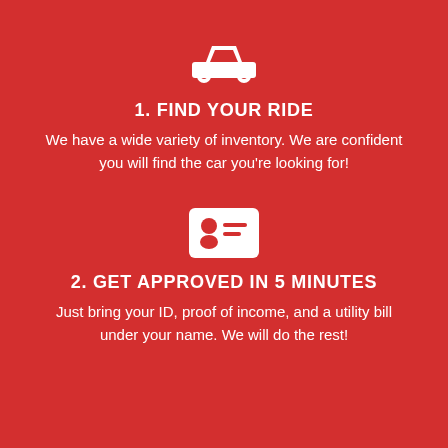[Figure (illustration): White car icon on red background]
1. FIND YOUR RIDE
We have a wide variety of inventory. We are confident you will find the car you're looking for!
[Figure (illustration): White ID card icon with person silhouette and lines on red background]
2. GET APPROVED IN 5 MINUTES
Just bring your ID, proof of income, and a utility bill under your name. We will do the rest!